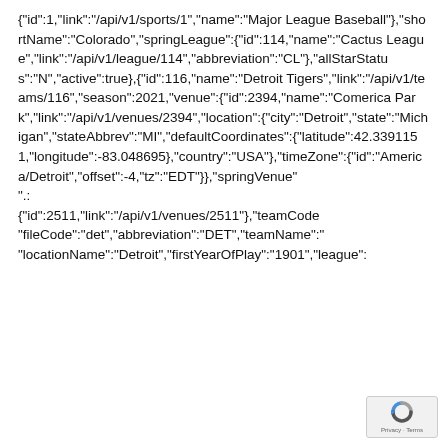{"id":1,"link":"/api/v1/sports/1","name":"Major League Baseball"},"shortName":"Colorado","springLeague":{"id":114,"name":"Cactus League","link":"/api/v1/league/114","abbreviation":"CL"},"allStarStatus":"N","active":true},{"id":116,"name":"Detroit Tigers","link":"/api/v1/teams/116","season":2021,"venue":{"id":2394,"name":"Comerica Park","link":"/api/v1/venues/2394","location":{"city":"Detroit","state":"Michigan","stateAbbrev":"MI","defaultCoordinates":{"latitude":42.3391151,"longitude":-83.048695},"country":"USA"},"timeZone":{"id":"America/Detroit","offset":-4,"tz":"EDT"}},"springVenue":".:{"id":2511,"link":"/api/v1/venues/2511"},"teamCode":""fileCode":"det","abbreviation":"DET","teamName":""locationName":"Detroit","firstYearOfPlay":"1901","league":
[Figure (other): reCAPTCHA badge with logo and Privacy-Terms text]